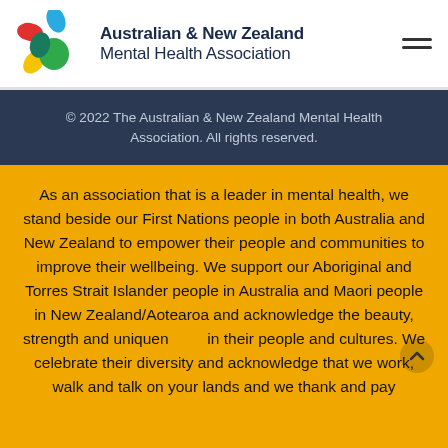[Figure (logo): Australian & New Zealand Mental Health Association logo — colorful flower/leaf shapes in blue, red, yellow, green with organization name]
© 2022 The Australian & New Zealand Mental Health Association. All rights reserved.
As an association that is a leader in mental health, we stand beside our First Nations people in both Australia and New Zealand to empower their people and communities to improve their wellbeing. We support our Aboriginal and Torres Strait Islander people in Australia and Maori people in New Zealand/Aotearoa and acknowledge the beauty, strength and uniquen in their people and cultures. We celebrate their diversity and acknowledge that we work, walk and talk on your lands and we thank and pay
vind uomors/whokouto/respect to your ancestors